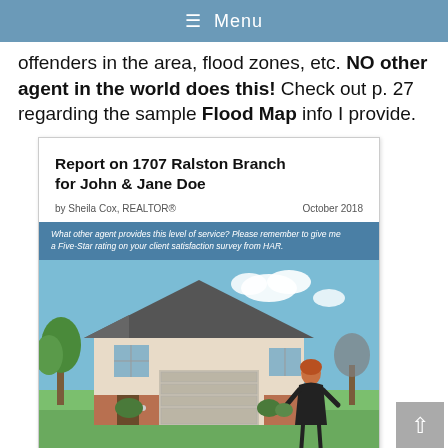≡ Menu
offenders in the area, flood zones, etc. NO other agent in the world does this! Check out p. 27 regarding the sample Flood Map info I provide.
[Figure (illustration): Report cover card for '1707 Ralston Branch for John & Jane Doe' by Sheila Cox, REALTOR, October 2018, with a photo of a house and a realtor standing in front of it.]